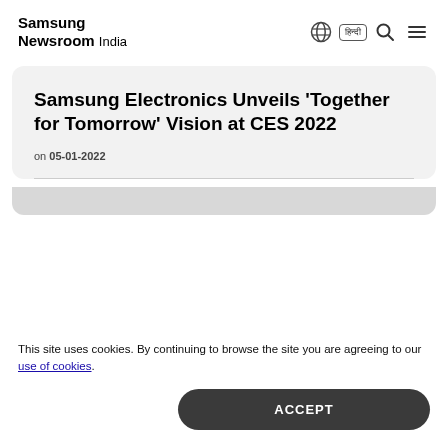Samsung Newsroom India
Samsung Electronics Unveils 'Together for Tomorrow' Vision at CES 2022
on 05-01-2022
This site uses cookies. By continuing to browse the site you are agreeing to our use of cookies.
ACCEPT